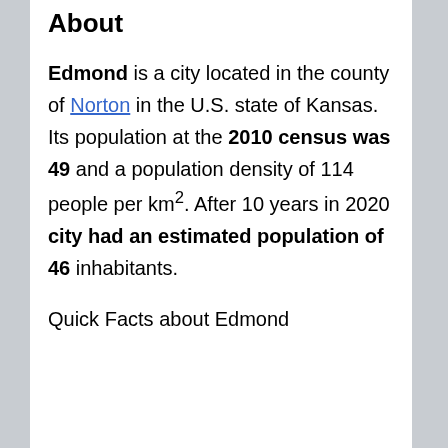About
Edmond is a city located in the county of Norton in the U.S. state of Kansas. Its population at the 2010 census was 49 and a population density of 114 people per km². After 10 years in 2020 city had an estimated population of 46 inhabitants.
Quick Facts about Edmond